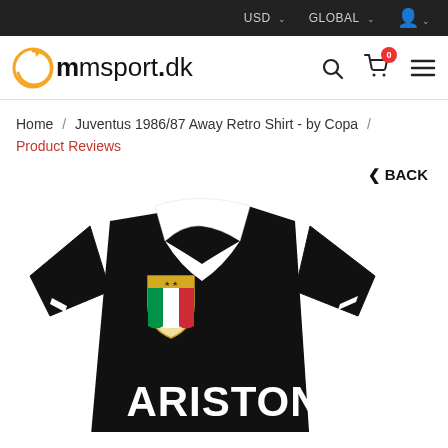USD   GLOBAL   user icon
[Figure (logo): mmsport.dk logo with orange circular arrow icon]
Home / Juventus 1986/87 Away Retro Shirt - by Copa / Product Reviews
< BACK
[Figure (photo): Juventus 1986/87 Away Retro Shirt - black jersey with white collar, Juventus crest badge, and ARISTON sponsor text]